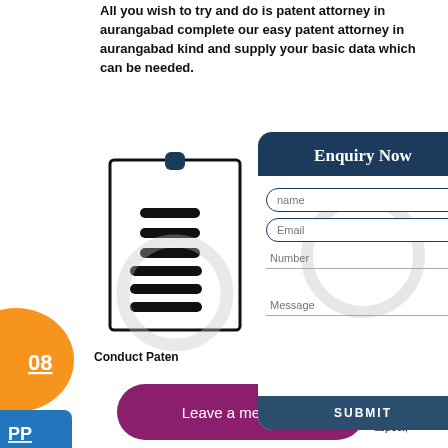All you wish to try and do is patent attorney in aurangabad complete our easy patent attorney in aurangabad kind and supply your basic data which can be needed.
[Figure (illustration): Document/clipboard illustration with lines representing text, overlaid with an 'Enquiry Now' form panel. Left side shows partial orange circle with '08', blue rectangle with 'PP', a bullet point, 'Conduct Paten...' bold text, a small green oval, a purple/magenta 'Leave a message' pill button, and a black circle. The main panel is a dark navy enquiry form with name, email, number, message fields and a SUBMIT button.]
Conduct Paten
aurangabad complete our easy patent attorney in aurangabad aspect,